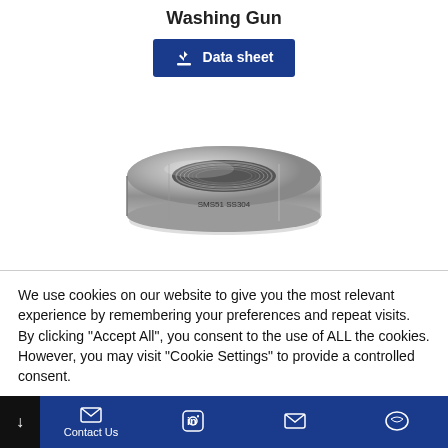Washing Gun
[Figure (other): Download 'Data sheet' button with dark blue background and download icon]
[Figure (photo): Stainless steel sanitary union nut / coupling fitting, round with internal threading, labeled 'SMS51 SS304']
We use cookies on our website to give you the most relevant experience by remembering your preferences and repeat visits. By clicking "Accept All", you consent to the use of ALL the cookies. However, you may visit "Cookie Settings" to provide a controlled consent.
Contact Us | LinkedIn | Email | WeChat